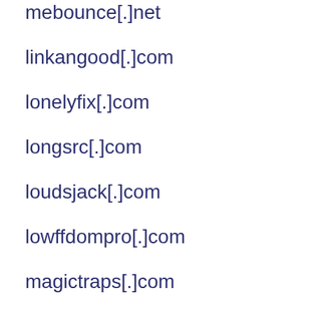mebounce[.]net
linkangood[.]com
lonelyfix[.]com
longsrc[.]com
loudsjack[.]com
lowffdompro[.]com
magictraps[.]com
masyclick[.]com
mikkymax[.]com
miniklixk[.]org
minisrclink[.]cool